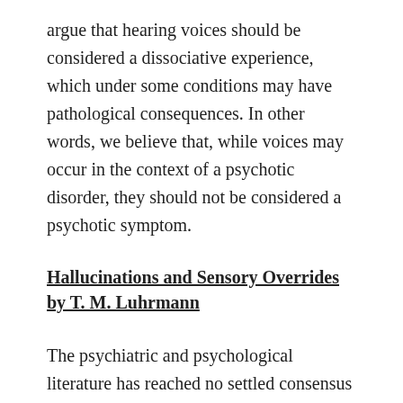argue that hearing voices should be considered a dissociative experience, which under some conditions may have pathological consequences. In other words, we believe that, while voices may occur in the context of a psychotic disorder, they should not be considered a psychotic symptom.
Hallucinations and Sensory Overrides by T. M. Luhrmann
The psychiatric and psychological literature has reached no settled consensus about why hallucinations